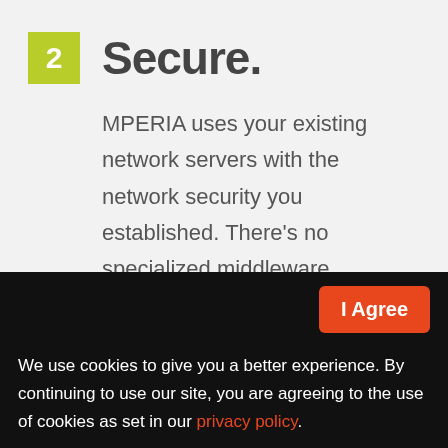2 Secure.
MPERIA uses your existing network servers with the network security you established. There’s no specialized middleware required, so your data remains secure.
I Agree
We use cookies to give you a better experience. By continuing to use our site, you are agreeing to the use of cookies as set in our privacy policy.